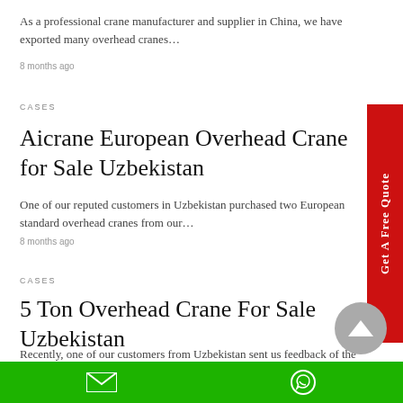As a professional crane manufacturer and supplier in China, we have exported many overhead cranes…
8 months ago
CASES
Aicrane European Overhead Crane for Sale Uzbekistan
One of our reputed customers in Uzbekistan purchased two European standard overhead cranes from our…
8 months ago
CASES
5 Ton Overhead Crane For Sale Uzbekistan
Recently, one of our customers from Uzbekistan sent us feedback of the overhead crane they…
[Figure (other): Red vertical sidebar button reading 'Get A Free Quote']
[Figure (other): Grey circular scroll-to-top button with upward triangle arrow]
Green footer bar with email icon and WhatsApp icon